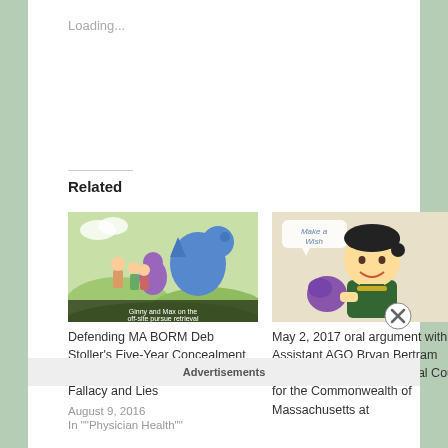Loading...
Related
[Figure (illustration): Cartoon illustration of fantasy characters including dragons and children in a meadow, with a caption overlay reading 'Ginny and Max on the off-site pursue retrieval']
Defending MA BORM Deb Stoller's Five-Year Concealment of Fraud–Nothing Left but Logical Fallacy and Lies
August 9, 2016
In ""Physician Health""
[Figure (illustration): Cartoon illustration of a smiling boy with dark hair holding a purple object, with a speech bubble reading 'Make a Wish']
May 2, 2017 oral argument with Assistant AGO Bryan Bertram before the Supreme Judicial Court for the Commonwealth of Massachusetts at
Advertisements